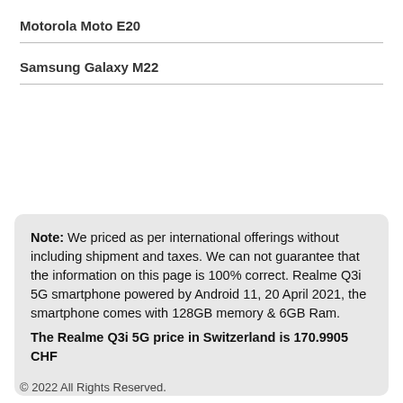Motorola Moto E20
Samsung Galaxy M22
Note: We priced as per international offerings without including shipment and taxes. We can not guarantee that the information on this page is 100% correct. Realme Q3i 5G smartphone powered by Android 11, 20 April 2021, the smartphone comes with 128GB memory & 6GB Ram. The Realme Q3i 5G price in Switzerland is 170.9905 CHF
© 2022 All Rights Reserved.